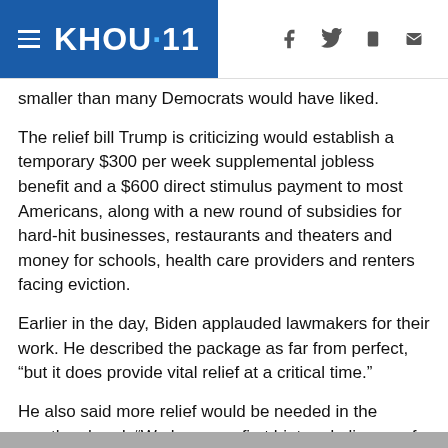KHOU 11
smaller than many Democrats would have liked.
The relief bill Trump is criticizing would establish a temporary $300 per week supplemental jobless benefit and a $600 direct stimulus payment to most Americans, along with a new round of subsidies for hard-hit businesses, restaurants and theaters and money for schools, health care providers and renters facing eviction.
Earlier in the day, Biden applauded lawmakers for their work. He described the package as far from perfect, “but it does provide vital relief at a critical time.”
He also said more relief would be needed in the months ahead. “We have our first hint and glimpse of bipartisanship,” Biden said. “In this election, the American people made it clear they want us to reach across the aisle and work together.”